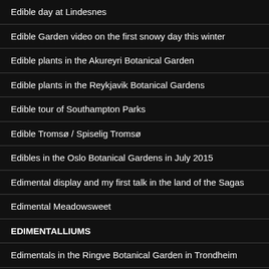Edible day at Lindesnes
Edible Garden video on the first snowy day this winter
Edible plants in the Akureyri Botanical Garden
Edible plants in the Reykjavik Botanical Gardens
Edible tour of Southampton Parks
Edible Tromsø / Spiselig Tromsø
Edibles in the Oslo Botanical Gardens in July 2015
Edimental display and my first talk in the land of the Sagas
Edimental Meadowsweet
EDIMENTALLIUMS
Edimentals in the Ringve Botanical Garden in Trondheim
Edimentals tour of the Copenhagen Botanical Gardens on 16th March 2014